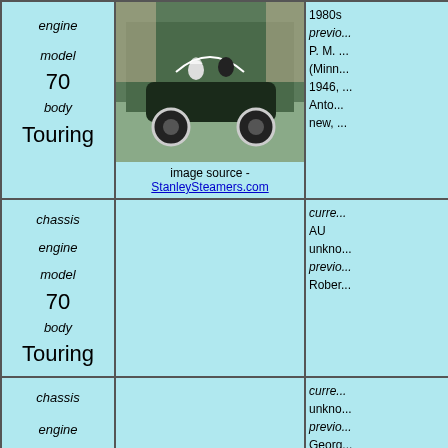| Left | Middle | Right |
| --- | --- | --- |
| engine
model 70
body Touring | image source - StanleySteamers.com | 1980s
previo...
P. M. ...
(Minn...
1946, ...
Anton...
new, ... |
| chassis
engine
model 70
body Touring |  | curre...
AU
unknow...
previo...
Rober... |
| chassis
engine |  | curre...
unknow...
previo...
Georg... |